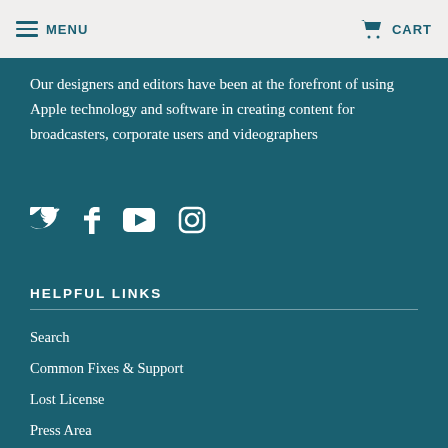MENU | CREATIVE VIDEO EFFECTS | CART
Our designers and editors have been at the forefront of using Apple technology and software in creating content for broadcasters, corporate users and videographers
[Figure (infographic): Four social media icons: Twitter (bird), Facebook (f), YouTube (play button), Instagram (camera)]
HELPFUL LINKS
Search
Common Fixes & Support
Lost License
Press Area
Legal